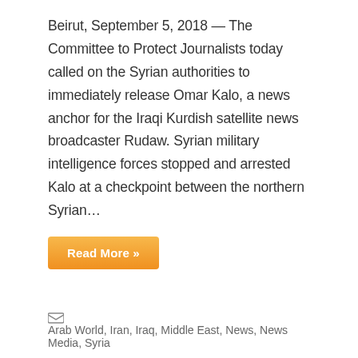Beirut, September 5, 2018 — The Committee to Protect Journalists today called on the Syrian authorities to immediately release Omar Kalo, a news anchor for the Iraqi Kurdish satellite news broadcaster Rudaw. Syrian military intelligence forces stopped and arrested Kalo at a checkpoint between the northern Syrian...
Read More »
Arab World, Iran, Iraq, Middle East, News, News Media, Syria
Journalists under assault in Syria
July 11, 2018  rayhanania  No Comments